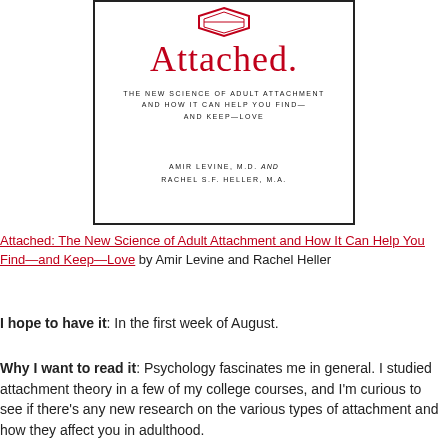[Figure (illustration): Book cover of 'Attached: The New Science of Adult Attachment and How It Can Help You Find—and Keep—Love' by Amir Levine, M.D. and Rachel S.F. Heller, M.A. The cover shows a red title 'Attached.' on white background with a small graphic at the top and the authors' names at the bottom.]
Attached: The New Science of Adult Attachment and How It Can Help You Find—and Keep—Love by Amir Levine and Rachel Heller
I hope to have it: In the first week of August.
Why I want to read it: Psychology fascinates me in general. I studied attachment theory in a few of my college courses, and I'm curious to see if there's any new research on the various types of attachment and how they affect you in adulthood.